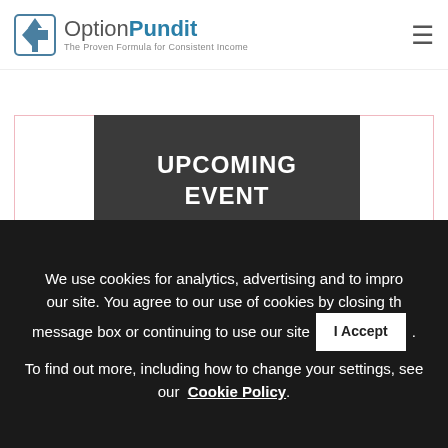OptionPundit – The Proven Formula for Consistent Income
UPCOMING EVENT
[Figure (photo): Broken/loading image placeholder inside a card with pink border]
[Figure (other): Social media icons: Facebook, YouTube, Twitter, Instagram on right edge]
We use cookies for analytics, advertising and to improve our site. You agree to our use of cookies by closing this message box or continuing to use our site. I Accept. To find out more, including how to change your settings, see our Cookie Policy.